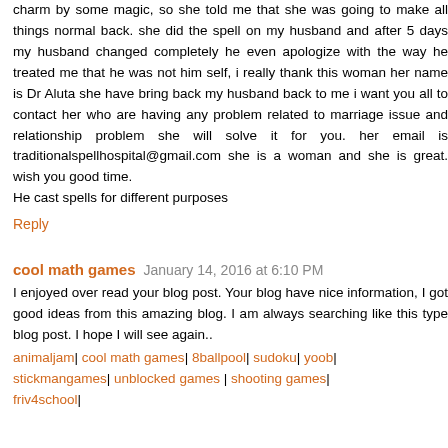charm by some magic, so she told me that she was going to make all things normal back. she did the spell on my husband and after 5 days my husband changed completely he even apologize with the way he treated me that he was not him self, i really thank this woman her name is Dr Aluta she have bring back my husband back to me i want you all to contact her who are having any problem related to marriage issue and relationship problem she will solve it for you. her email is traditionalspellhospital@gmail.com she is a woman and she is great. wish you good time.
He cast spells for different purposes
Reply
cool math games  January 14, 2016 at 6:10 PM
I enjoyed over read your blog post. Your blog have nice information, I got good ideas from this amazing blog. I am always searching like this type blog post. I hope I will see again..
animaljam| cool math games| 8ballpool| sudoku| yoob| stickmangames| unblocked games | shooting games| friv4school|